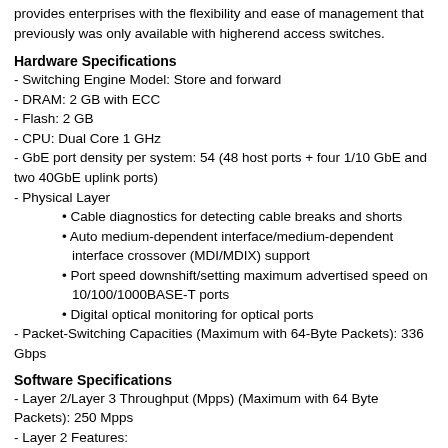provides enterprises with the flexibility and ease of management that previously was only available with higherend access switches.
Hardware Specifications
- Switching Engine Model: Store and forward
- DRAM: 2 GB with ECC
- Flash: 2 GB
- CPU: Dual Core 1 GHz
- GbE port density per system: 54 (48 host ports + four 1/10 GbE and two 40GbE uplink ports)
- Physical Layer
• Cable diagnostics for detecting cable breaks and shorts
• Auto medium-dependent interface/medium-dependent interface crossover (MDI/MDIX) support
• Port speed downshift/setting maximum advertised speed on 10/100/1000BASE-T ports
• Digital optical monitoring for optical ports
- Packet-Switching Capacities (Maximum with 64-Byte Packets): 336 Gbps
Software Specifications
- Layer 2/Layer 3 Throughput (Mpps) (Maximum with 64 Byte Packets): 250 Mpps
- Layer 2 Features:
• Maximum MAC addresses per system: 32,000
• Jumbo frames: 9216 bytes
• Number of VLANs supported: 4,096
• Range of possible VLAN IDs: 1-4094
• Port-based VLAN